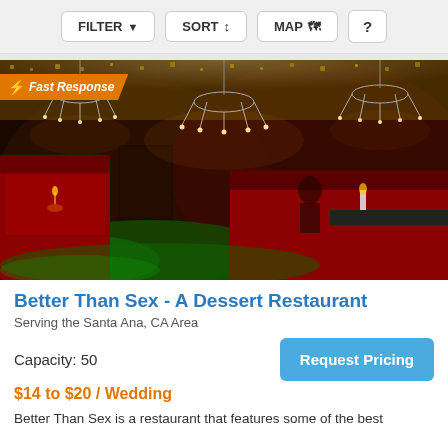FILTER  SORT  MAP  ?
[Figure (photo): Interior of Better Than Sex restaurant showing red booths, chandeliers, green glowing floor, and ornate bar area with candlelight]
Better Than Sex - A Dessert Restaurant
Serving the Santa Ana, CA Area
Capacity: 50
Request Pricing
$14 to $20 / Wedding
Better Than Sex is a restaurant that features some of the best